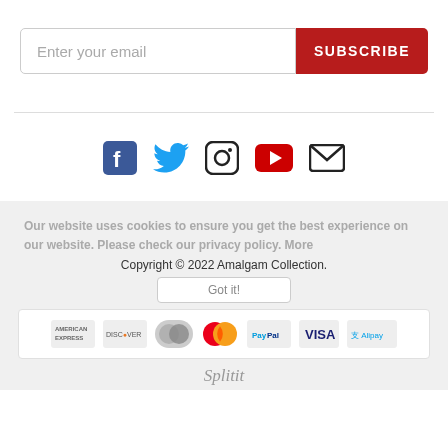[Figure (screenshot): Email subscription input field with placeholder text 'Enter your email' and a red SUBSCRIBE button]
[Figure (infographic): Row of social media icons: Facebook, Twitter, Instagram, YouTube, Email]
Our website uses cookies to ensure you get the best experience on our website. Please check our privacy policy. More
Copyright © 2022 Amalgam Collection.
[Figure (infographic): Row of payment logos: American Express, Discover, Maestro, MasterCard, PayPal, VISA, Alipay]
Splitit